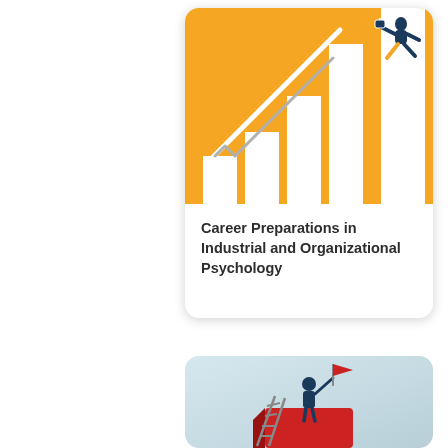[Figure (illustration): Book cover illustration: orange/yellow background with white bar chart bars and a cartoon person running up a diagonal zipper/spring path. Title text 'Career Preparations in Industrial and Organizational Psychology' on white background below the illustration.]
Career Preparations in Industrial and Organizational Psychology
[Figure (illustration): Partial view of a second book cover: light blue-grey gradient background with a figure in dark blue standing on a large red block/pedestal holding a red flag, with a ladder leaning against the block.]